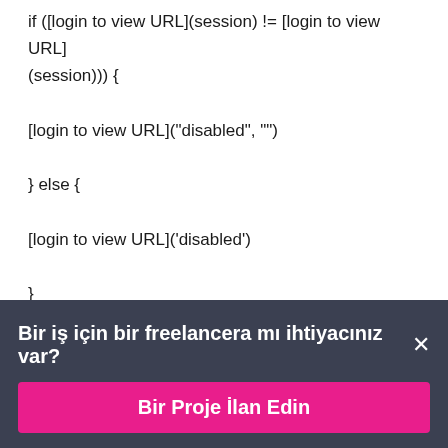if ([login to view URL](session) != [login to view URL](session))) {

[login to view URL]("disabled", "")

} else {

[login to view URL]('disabled')

}

};

The help I need, is that I need the javascript to trigger
Bir iş için bir freelancera mı ihtiyacınız var? ×
Bir Proje İlan Edin